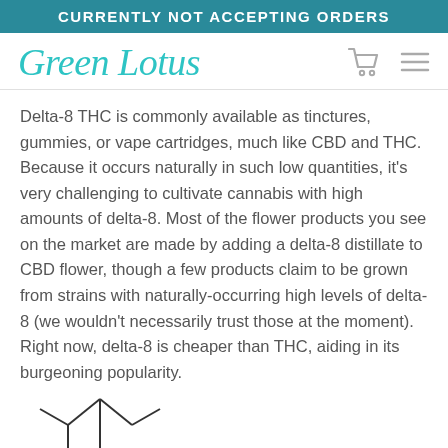CURRENTLY NOT ACCEPTING ORDERS
[Figure (logo): Green Lotus cursive logo in teal with shopping cart icon and hamburger menu icon]
Delta-8 THC is commonly available as tinctures, gummies, or vape cartridges, much like CBD and THC. Because it occurs naturally in such low quantities, it's very challenging to cultivate cannabis with high amounts of delta-8. Most of the flower products you see on the market are made by adding a delta-8 distillate to CBD flower, though a few products claim to be grown from strains with naturally-occurring high levels of delta-8 (we wouldn't necessarily trust those at the moment). Right now, delta-8 is cheaper than THC, aiding in its burgeoning popularity.
[Figure (engineering-diagram): Partial chemical structure diagram of a molecule, showing bond lines and 'OH' label, cut off at bottom of page]